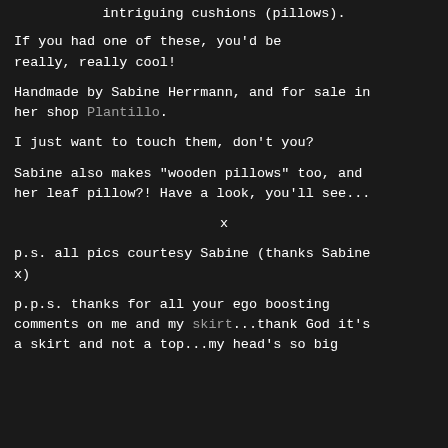intriguing cushions (pillows).
If you had one of these, you'd be really, really cool!
Handmade by Sabine Herrmann, and for sale in her shop Plantillo.
I just want to touch them, don't you?
Sabine also makes "wooden pillows" too, and her leaf pillow?! Have a look, you'll see...
x
p.s. all pics courtesy Sabine (thanks Sabine x)
p.p.s. thanks for all your ego boosting comments on me and my skirt...thank God it's a skirt and not a top...my head's so big